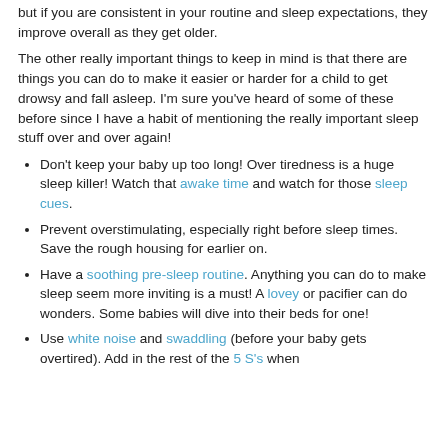but if you are consistent in your routine and sleep expectations, they improve overall as they get older.
The other really important things to keep in mind is that there are things you can do to make it easier or harder for a child to get drowsy and fall asleep. I'm sure you've heard of some of these before since I have a habit of mentioning the really important sleep stuff over and over again!
Don't keep your baby up too long! Over tiredness is a huge sleep killer! Watch that awake time and watch for those sleep cues.
Prevent overstimulating, especially right before sleep times. Save the rough housing for earlier on.
Have a soothing pre-sleep routine. Anything you can do to make sleep seem more inviting is a must! A lovey or pacifier can do wonders. Some babies will dive into their beds for one!
Use white noise and swaddling (before your baby gets overtired). Add in the rest of the 5 S's when